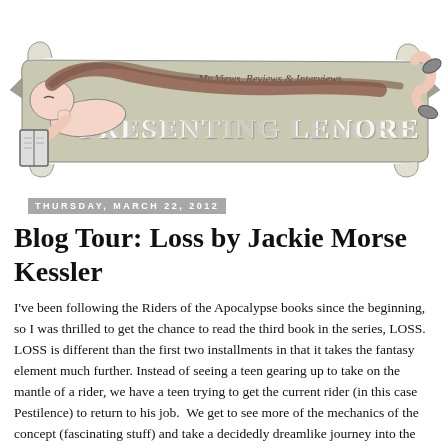[Figure (illustration): Blog header illustration of a girl lying down reading a book with long flowing hair on a banner that reads 'Presenting Lenore' with subtitle 'My Views, Reviews & Interviews']
Thursday, March 22, 2012
Blog Tour: Loss by Jackie Morse Kessler
I've been following the Riders of the Apocalypse books since the beginning, so I was thrilled to get the chance to read the third book in the series, LOSS.  LOSS is different than the first two installments in that it takes the fantasy element much further. Instead of seeing a teen gearing up to take on the mantle of a rider, we have a teen trying to get the current rider (in this case Pestilence) to return to his job.  We get to see more of the mechanics of the concept (fascinating stuff) and take a decidedly dreamlike journey into the mind of a